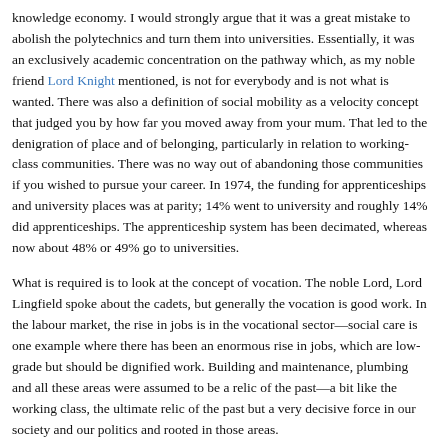knowledge economy. I would strongly argue that it was a great mistake to abolish the polytechnics and turn them into universities. Essentially, it was an exclusively academic concentration on the pathway which, as my noble friend Lord Knight mentioned, is not for everybody and is not what is wanted. There was also a definition of social mobility as a velocity concept that judged you by how far you moved away from your mum. That led to the denigration of place and of belonging, particularly in relation to working-class communities. There was no way out of abandoning those communities if you wished to pursue your career. In 1974, the funding for apprenticeships and university places was at parity; 14% went to university and roughly 14% did apprenticeships. The apprenticeship system has been decimated, whereas now about 48% or 49% go to universities.
What is required is to look at the concept of vocation. The noble Lord, Lord Lingfield spoke about the cadets, but generally the vocation is good work. In the labour market, the rise in jobs is in the vocational sector—social care is one example where there has been an enormous rise in jobs, which are low-grade but should be dignified work. Building and maintenance, plumbing and all these areas were assumed to be a relic of the past—a bit like the working class, the ultimate relic of the past but a very decisive force in our society and our politics and rooted in those areas.